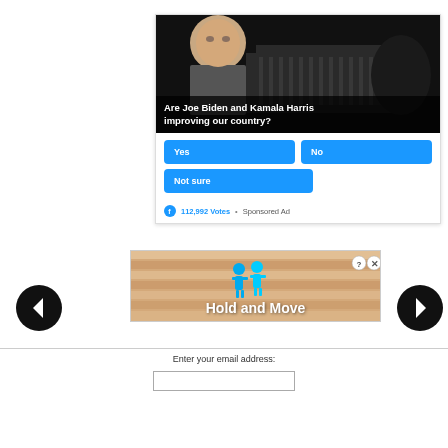[Figure (photo): Poll card showing a photo of Joe Biden with the White House in the background in dark/grayscale tones, with text overlay asking a poll question]
Are Joe Biden and Kamala Harris improving our country?
Yes
No
Not sure
112,992 Votes  •  Sponsored Ad
[Figure (screenshot): Advertisement banner with tan/wood background showing two blue cartoon figures and text 'Hold and Move', with help and close buttons]
Enter your email address: